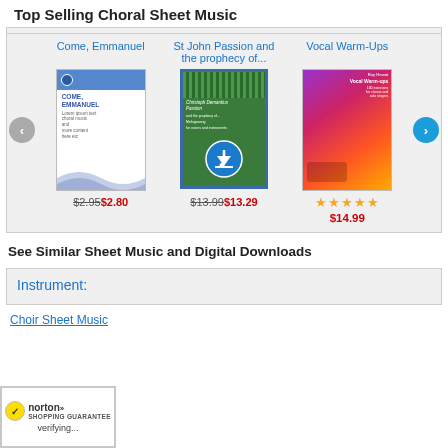Top Selling Choral Sheet Music
[Figure (other): Carousel of sheet music products: Come Emmanuel, St John Passion and the prophecy of..., Vocal Warm-Ups]
Come, Emmanuel — $2.95 (strikethrough) $2.80
St John Passion and the prophecy of... — $13.99 (strikethrough) $13.29
Vocal Warm-Ups — ★★★★★ — $14.99
See Similar Sheet Music and Digital Downloads
Instrument:
Choir Sheet Music